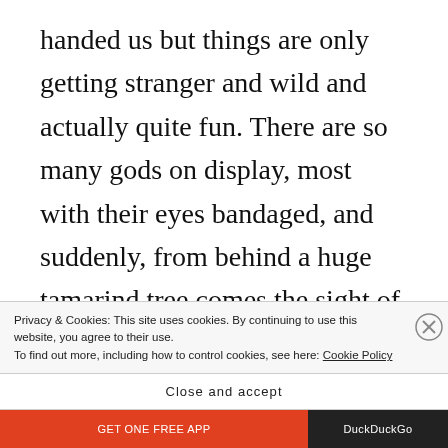handed us but things are only getting stranger and wild and actually quite fun. There are so many gods on display, most with their eyes bandaged, and suddenly, from behind a huge tamarind tree comes the sight of the moon, huge, blood red and starting to eclipse much to our
Privacy & Cookies: This site uses cookies. By continuing to use this website, you agree to their use.
To find out more, including how to control cookies, see here: Cookie Policy
Close and accept